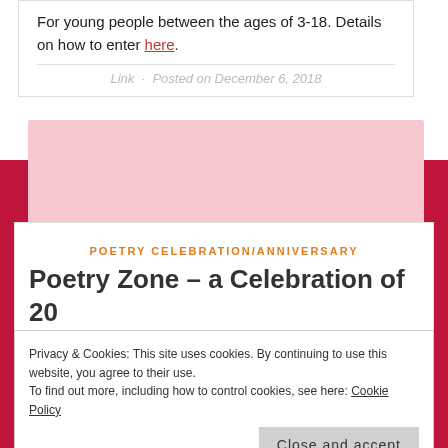For young people between the ages of 3-18. Details on how to enter here.
Link · Posted on December 6, 2018
POETRY CELEBRATION/ANNIVERSARY
Poetry Zone – a Celebration of 20
Privacy & Cookies: This site uses cookies. By continuing to use this website, you agree to their use.
To find out more, including how to control cookies, see here: Cookie Policy
Close and accept